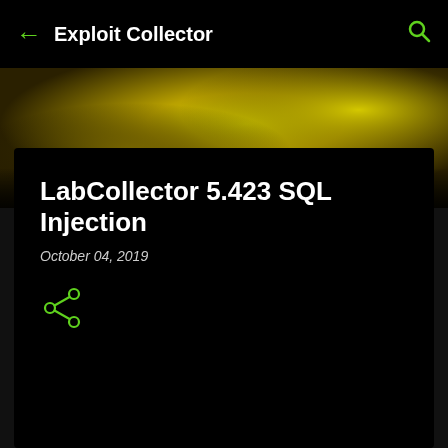Exploit Collector
[Figure (photo): Blurred yellow-green bokeh banner image]
LabCollector 5.423 SQL Injection
October 04, 2019
[Figure (illustration): Green share icon (less-than symbol with two dots)]